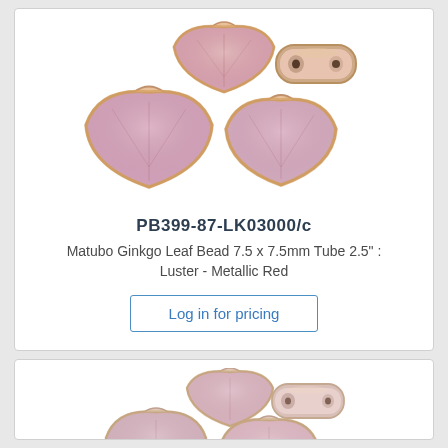[Figure (photo): Product photo showing four pink/rose metallic Matubo Ginkgo Leaf Beads with golden luster edges, fan/leaf shaped, plus one bead shown from the side (tube view showing two holes). Luster Metallic Red color.]
PB399-87-LK03000/c
Matubo Ginkgo Leaf Bead 7.5 x 7.5mm Tube 2.5" : Luster - Metallic Red
Log in for pricing
[Figure (photo): Partial product photo showing pink/rose Matubo Ginkgo Leaf Beads with golden luster edges plus one bead shown from the side, lighter/more muted pink color variant.]